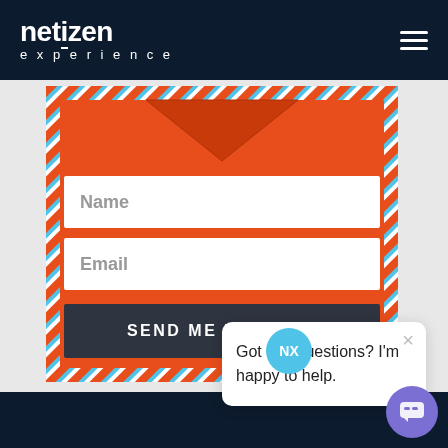[Figure (screenshot): Netizen Experience website header with dark navy background. Logo reads 'netizen' in bold white with 'experience' in spaced letters below. Hamburger menu icon on the right.]
[Figure (screenshot): Orange airmail envelope signup form with Name and Email text fields, and a dark 'Send Me Updates' button. Airmail diagonal stripe border pattern around the orange card.]
[Figure (screenshot): Chat popup with NX avatar in blue circle, a white rounded card saying 'Got any questions? I'm happy to help.' with an X close button, and a purple chat bubble button in the bottom right.]